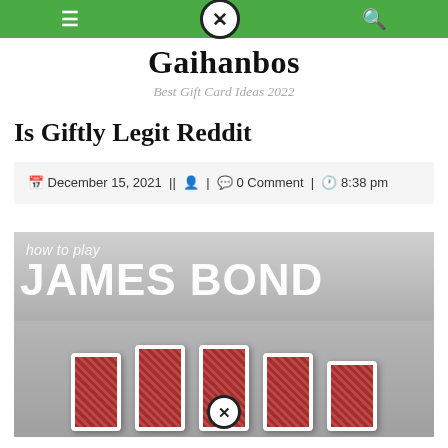Gaihanbos — Best Gift Card Ideas 2022 (navigation bar)
Gaihanbos
Best Gift Card Ideas 2022
Is Giftly Legit Reddit
December 15, 2021 | | [user icon] | [comment icon] 0 Comment | [clock icon] 8:38 pm
[Figure (photo): Image showing how to play James Bond card game, with playing cards fanned out on a surface. Text overlay reads 'how to play' and large bold text 'JAMES BOND'.]